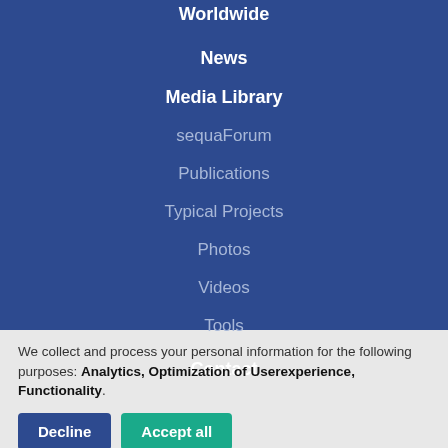Worldwide
News
Media Library
sequaForum
Publications
Typical Projects
Photos
Videos
Tools
Contact
We collect and process your personal information for the following purposes: Analytics, Optimization of Userexperience, Functionality.
Decline
Accept all
Customize...